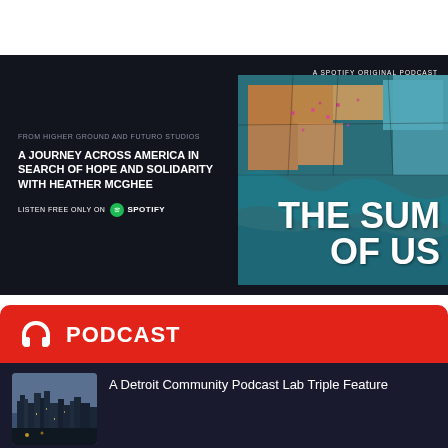[Figure (illustration): Spotify Original Podcast banner for 'The Sum of Us' with dark background, mosaic map artwork, and text: 'From Higher Ground and Futuro Studios', 'A Journey Across America in Search of Hope and Solidarity with Heather McGhee', 'Listen Free Only on Spotify']
PODCAST
A Detroit Community Podcast Lab Triple Feature